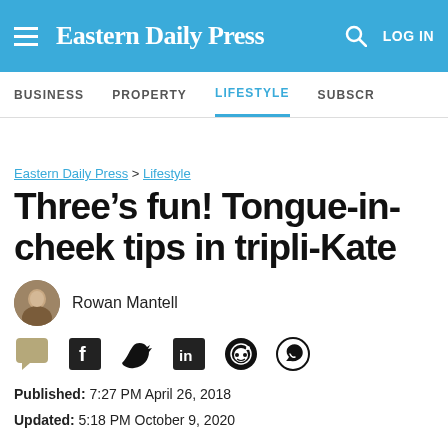Eastern Daily Press
BUSINESS   PROPERTY   LIFESTYLE   SUBSCR
Eastern Daily Press > Lifestyle
Three’s fun! Tongue-in-cheek tips in tripli-Kate
Rowan Mantell
Published: 7:27 PM April 26, 2018
Updated: 5:18 PM October 9, 2020